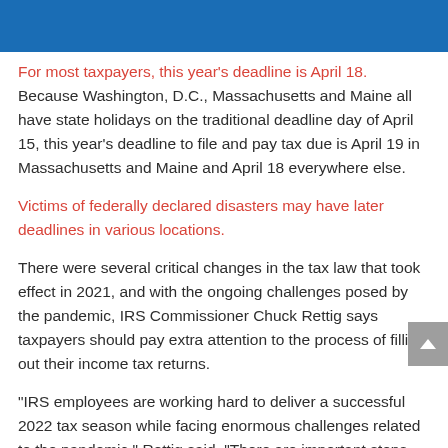[Figure (other): Blue banner header at top of page]
For most taxpayers, this year's deadline is April 18. Because Washington, D.C., Massachusetts and Maine all have state holidays on the traditional deadline day of April 15, this year's deadline to file and pay tax due is April 19 in Massachusetts and Maine and April 18 everywhere else.
Victims of federally declared disasters may have later deadlines in various locations.
There were several critical changes in the tax law that took effect in 2021, and with the ongoing challenges posed by the pandemic, IRS Commissioner Chuck Rettig says taxpayers should pay extra attention to the process of filling out their income tax returns.
“IRS employees are working hard to deliver a successful 2022 tax season while facing enormous challenges related to the pandemic,” Rettig said. “There are important steps people can take to ensure they avoid processing delays and get their tax refund as quickly as possible. We encourage taxpayers to follow the latest safe...